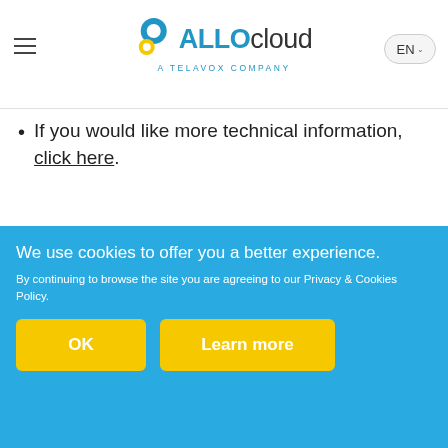ALLOcloud — a TELAVOX company
If you would like more technical information, click here.
[Figure (other): Yellow rounded CTA button with text: INSTANT TELEPHONY QUOTE]
We use cookies to offer you a better experience. By continuing to browse the site you are agreeing to our Privacy & Cookies Policy.
[Figure (other): Two yellow buttons: OK and Learn more on blue cookie consent banner]